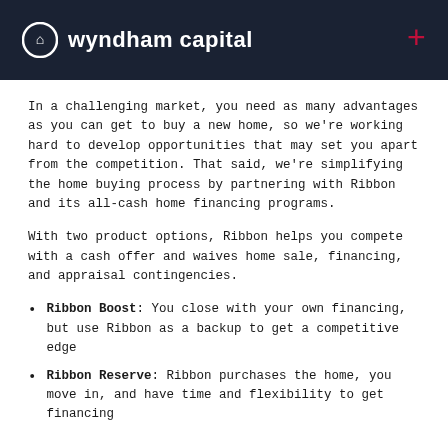wyndham capital
In a challenging market, you need as many advantages as you can get to buy a new home, so we're working hard to develop opportunities that may set you apart from the competition. That said, we're simplifying the home buying process by partnering with Ribbon and its all-cash home financing programs.
With two product options, Ribbon helps you compete with a cash offer and waives home sale, financing, and appraisal contingencies.
Ribbon Boost: You close with your own financing, but use Ribbon as a backup to get a competitive edge
Ribbon Reserve: Ribbon purchases the home, you move in, and have time and flexibility to get financing